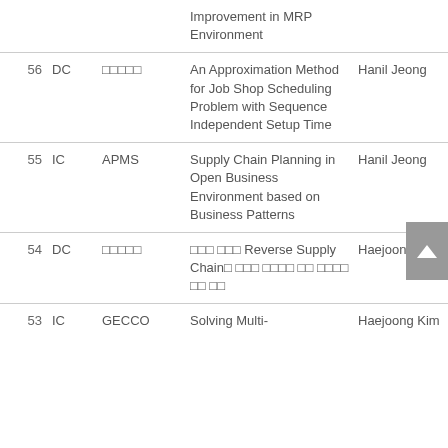| No | Type | Venue | Title | Author |
| --- | --- | --- | --- | --- |
|  |  |  | Improvement in MRP Environment |  |
| 56 | DC | □□□□□ | An Approximation Method for Job Shop Scheduling Problem with Sequence Independent Setup Time | Hanil Jeong |
| 55 | IC | APMS | Supply Chain Planning in Open Business Environment based on Business Patterns | Hanil Jeong |
| 54 | DC | □□□□□ | □□□ □□□ Reverse Supply Chain□ □□□ □□□□ □□ □□□□ □□ □□ | Haejoong Kim |
| 53 | IC | GECCO | Solving Multi- | Haejoong Kim |